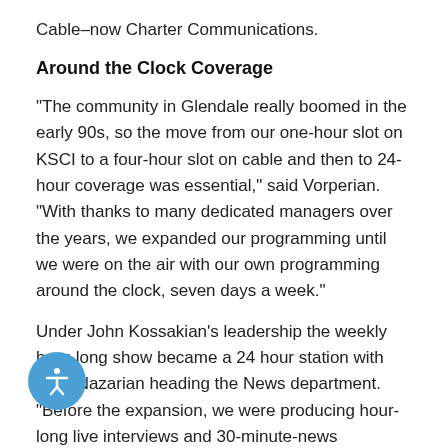Cable–now Charter Communications.
Around the Clock Coverage
“The community in Glendale really boomed in the early 90s, so the move from our one-hour slot on KSCI to a four-hour slot on cable and then to 24-hour coverage was essential,” said Vorperian. “With thanks to many dedicated managers over the years, we expanded our programming until we were on the air with our own programming around the clock, seven days a week.”
Under John Kossakian’s leadership the weekly hour-long show became a 24 hour station with Saro Nazarian heading the News department. “Before the expansion, we were producing hour-long live interviews and 30-minute-news segments, and we were still considered the most widely viewed and influential TV program in the